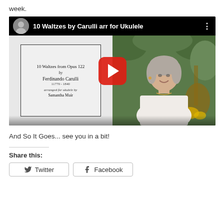week.
[Figure (screenshot): YouTube video thumbnail showing '10 Waltzes by Carulli arr for Ukulele' with sheet music on left side and a smiling woman with grey hair on the right side, with a red YouTube play button in the center.]
And So It Goes... see you in a bit!
Share this:
Twitter
Facebook